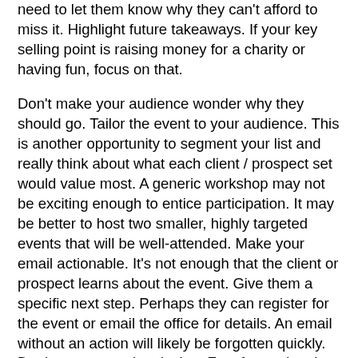need to let them know why they can't afford to miss it. Highlight future takeaways. If your key selling point is raising money for a charity or having fun, focus on that.
Don't make your audience wonder why they should go. Tailor the event to your audience. This is another opportunity to segment your list and really think about what each client / prospect set would value most. A generic workshop may not be exciting enough to entice participation. It may be better to host two smaller, highly targeted events that will be well-attended. Make your email actionable. It's not enough that the client or prospect learns about the event. Give them a specific next step. Perhaps they can register for the event or email the office for details. An email without an action will likely be forgotten quickly. Deploy a responsive design. Fast forward to the day of the event, and there's a good chance that your client will be using their smartphone to refer back to